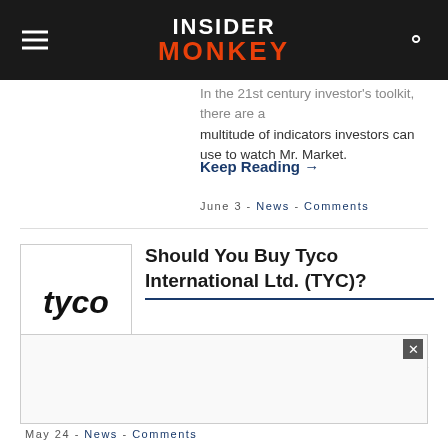INSIDER MONKEY
In the 21st century investor's toolkit, there are a multitude of indicators investors can use to watch Mr. Market.
Keep Reading →
June 3 - News - Comments
Should You Buy Tyco International Ltd. (TYC)?
Tyco International Ltd. (NYSE:TYC) was in 45 hedge funds' portfolio at the end of March. TYC has seen an increase in activity from the world's
May 24 - News - Comments